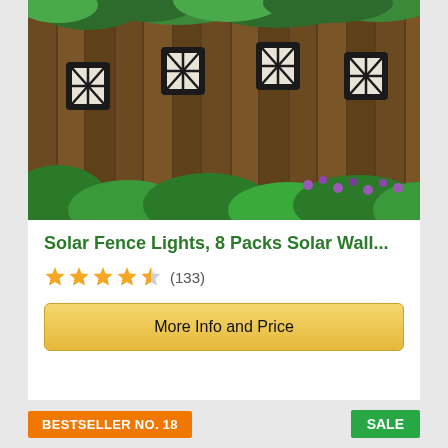[Figure (photo): Product photo of 4 solar fence/wall lights mounted on a wooden fence with garden greenery and purple flowers below]
Solar Fence Lights, 8 Packs Solar Wall...
★★★★½ (133)
More Info and Price
BESTSELLER NO. 18
SALE